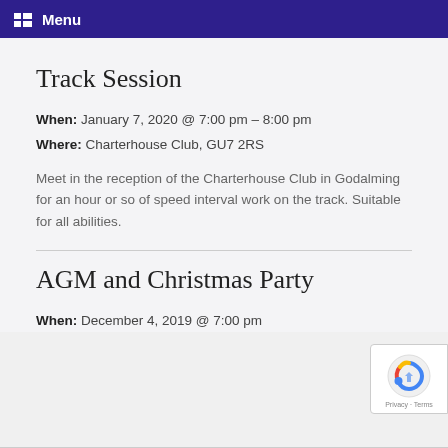Menu
Track Session
When: January 7, 2020 @ 7:00 pm – 8:00 pm
Where: Charterhouse Club, GU7 2RS
Meet in the reception of the Charterhouse Club in Godalming for an hour or so of speed interval work on the track. Suitable for all abilities.
AGM and Christmas Party
When: December 4, 2019 @ 7:00 pm
[Figure (other): reCAPTCHA badge with Privacy and Terms links]